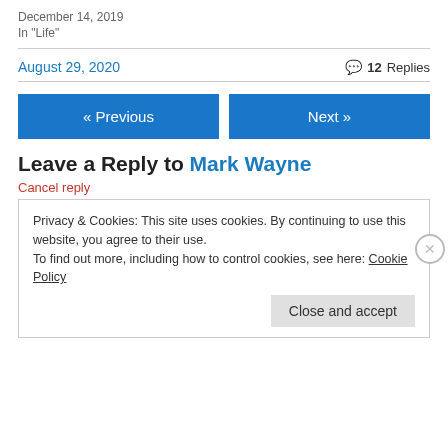December 14, 2019
In "Life"
August 29, 2020
💬 12 Replies
« Previous
Next »
Leave a Reply to Mark Wayne
Cancel reply
Privacy & Cookies: This site uses cookies. By continuing to use this website, you agree to their use.
To find out more, including how to control cookies, see here: Cookie Policy
Close and accept